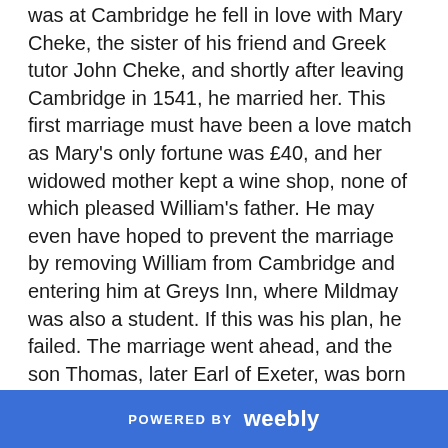was at Cambridge he fell in love with Mary Cheke, the sister of his friend and Greek tutor John Cheke, and shortly after leaving Cambridge in 1541, he married her. This first marriage must have been a love match as Mary's only fortune was £40, and her widowed mother kept a wine shop, none of which pleased William's father. He may even have hoped to prevent the marriage by removing William from Cambridge and entering him at Greys Inn, where Mildmay was also a student. If this was his plan, he failed. The marriage went ahead, and the son Thomas, later Earl of Exeter, was born in 1542. Poor Mary died two years later, the one romantic episode in William's life was over. However, he remained in touch with his mother-in-law and his wife's brother John who became tutor to the Prince of Wales.
POWERED BY weebly